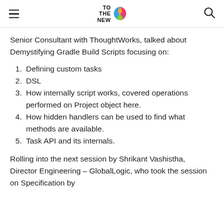TO THE NEW [logo]
Senior Consultant with ThoughtWorks, talked about Demystifying Gradle Build Scripts focusing on:
1. Defining custom tasks
2. DSL
3. How internally script works, covered operations performed on Project object here.
4. How hidden handlers can be used to find what methods are available.
5. Task API and its internals.
Rolling into the next session by Shrikant Vashistha, Director Engineering – GlobalLogic, who took the session on Specification by